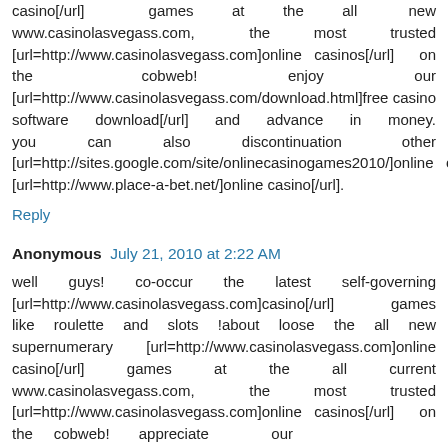casino[/url] games at the all new www.casinolasvegass.com, the most trusted [url=http://www.casinolasvegass.com]online casinos[/url] on the cobweb! enjoy our [url=http://www.casinolasvegass.com/download.html]free casino software download[/url] and advance in money. you can also discontinuation other [url=http://sites.google.com/site/onlinecasinogames2010/]online casinos bonus[/url] . check out this new [url=http://www.place-a-bet.net/]online casino[/url].
Reply
Anonymous  July 21, 2010 at 2:22 AM
well guys! co-occur the latest self-governing [url=http://www.casinolasvegass.com]casino[/url] games like roulette and slots !about loose the all new supernumerary [url=http://www.casinolasvegass.com]online casino[/url] games at the all current www.casinolasvegass.com, the most trusted [url=http://www.casinolasvegass.com]online casinos[/url] on the cobweb! appreciate our